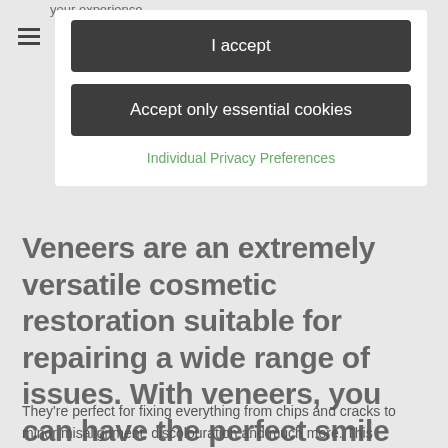your experience.
I accept
Accept only essential cookies
Individual Privacy Preferences
Veneers are an extremely versatile cosmetic restoration suitable for repairing a wide range of issues. With veneers, you can have the perfect smile without it looking artificial.
They're perfect for fixing everything from chips and cracks to minor misalignment, discolouration and much more. This